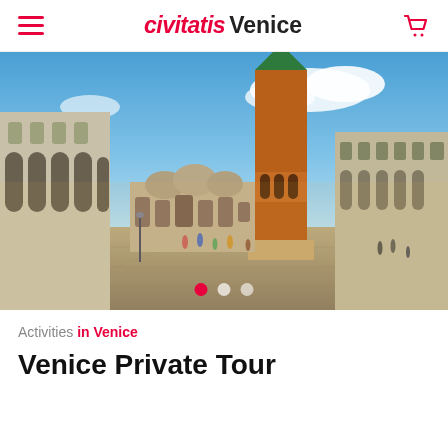civitatis Venice
[Figure (photo): Panoramic view of St. Mark's Square (Piazza San Marco) in Venice, Italy, featuring the Campanile bell tower, St. Mark's Basilica, and the Procuratie buildings under a blue sky with tourists in the foreground.]
Activities in Venice
Venice Private Tour